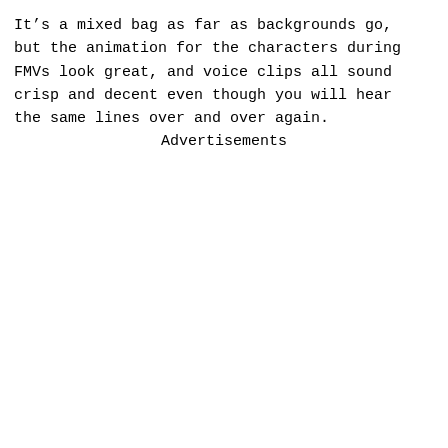It's a mixed bag as far as backgrounds go, but the animation for the characters during FMVs look great, and voice clips all sound crisp and decent even though you will hear the same lines over and over again.
Advertisements